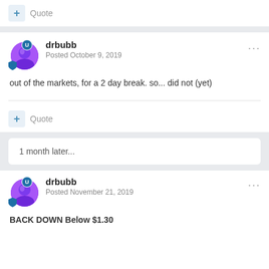+ Quote
drbubb
Posted October 9, 2019
out of the markets, for a 2 day break. so... did not (yet)
+ Quote
1 month later...
drbubb
Posted November 21, 2019
BACK DOWN Below $1.30